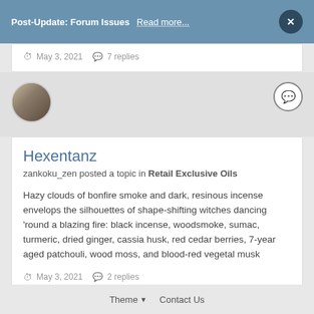Post-Update: Forum Issues   Read more...   ×
May 3, 2021   7 replies
Hexentanz
zankoku_zen posted a topic in Retail Exclusive Oils
Hazy clouds of bonfire smoke and dark, resinous incense envelops the silhouettes of shape-shifting witches dancing 'round a blazing fire: black incense, woodsmoke, sumac, turmeric, dried ginger, cassia husk, red cedar berries, 7-year aged patchouli, wood moss, and blood-red vegetal musk
May 3, 2021   2 replies
Theme▼   Contact Us